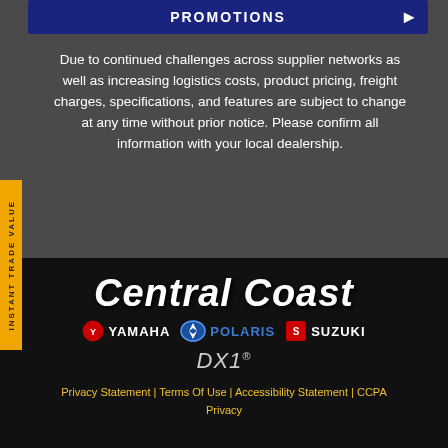PROMOTIONS
Due to continued challenges across supplier networks as well as increasing logistics costs, product pricing, freight charges, specifications, and features are subject to change at any time without prior notice. Please confirm all information with your local dealership.
[Figure (logo): Central Coast dealership logo in white italic bold text]
[Figure (logo): Yamaha, Polaris, and Suzuki brand logos in a row]
[Figure (logo): DX1 logo]
Privacy Statement | Terms Of Use | Accessibility Statement | CCPA Privacy